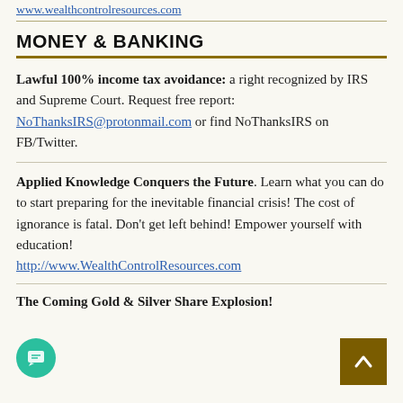www.wealthcontrolresources.com
MONEY & BANKING
Lawful 100% income tax avoidance: a right recognized by IRS and Supreme Court. Request free report: NoThanksIRS@protonmail.com or find NoThanksIRS on FB/Twitter.
Applied Knowledge Conquers the Future. Learn what you can do to start preparing for the inevitable financial crisis! The cost of ignorance is fatal. Don’t get left behind! Empower yourself with education! http://www.WealthControlResources.com
The Coming Gold & Silver Share Explosion!